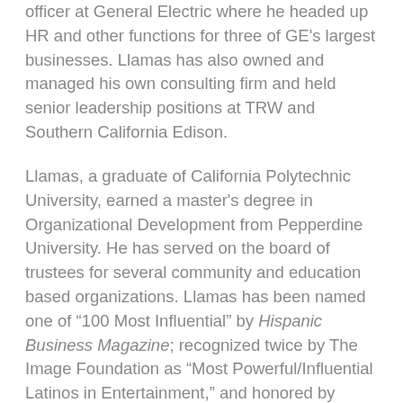officer at General Electric where he headed up HR and other functions for three of GE's largest businesses. Llamas has also owned and managed his own consulting firm and held senior leadership positions at TRW and Southern California Edison.
Llamas, a graduate of California Polytechnic University, earned a master's degree in Organizational Development from Pepperdine University. He has served on the board of trustees for several community and education based organizations. Llamas has been named one of “100 Most Influential” by Hispanic Business Magazine; recognized twice by The Image Foundation as “Most Powerful/Influential Latinos in Entertainment,” and honored by Hispanic Executive Magazine as “Top 10 Lideres.” Llamas has been profiled in several publications, including Talent Management Magazine, Poder Magazine, and Hispanic Executive.